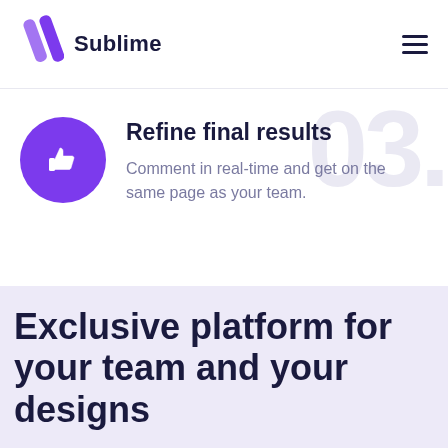[Figure (logo): Sublime logo: purple diagonal slash marks icon with 'Sublime' text beside it]
[Figure (illustration): Hamburger menu icon (three horizontal lines) in top right corner]
[Figure (illustration): Large faded '03.' watermark number in background]
[Figure (illustration): Purple circle with white thumbs-up icon]
Refine final results
Comment in real-time and get on the same page as your team.
Exclusive platform for your team and your designs